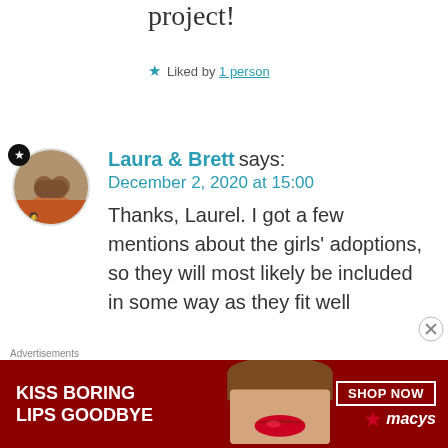project!
★ Liked by 1 person
Laura & Brett says:
December 2, 2020 at 15:00
Thanks, Laurel. I got a few mentions about the girls' adoptions, so they will most likely be included in some way as they fit well
[Figure (other): Advertisement banner: KISS BORING LIPS GOODBYE, SHOP NOW, macys logo]
Advertisements